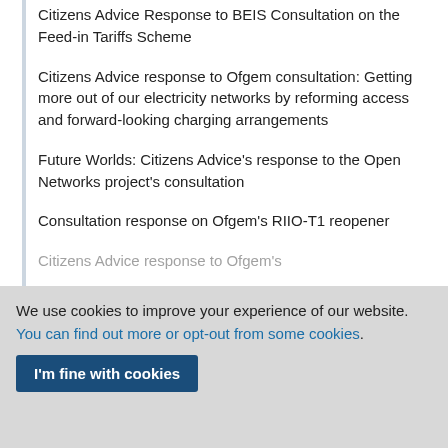Citizens Advice Response to BEIS Consultation on the Feed-in Tariffs Scheme
Citizens Advice response to Ofgem consultation: Getting more out of our electricity networks by reforming access and forward-looking charging arrangements
Future Worlds: Citizens Advice's response to the Open Networks project's consultation
Consultation response on Ofgem's RIIO-T1 reopener
Citizens Advice response to Ofgem's
We use cookies to improve your experience of our website. You can find out more or opt-out from some cookies.
I'm fine with cookies